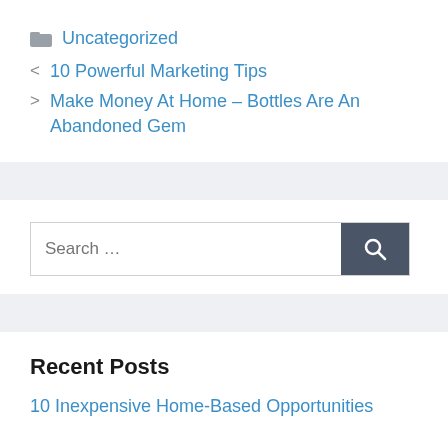Uncategorized
< 10 Powerful Marketing Tips
> Make Money At Home – Bottles Are An Abandoned Gem
[Figure (other): Search bar with text input 'Search ...' and dark search button with magnifying glass icon]
Recent Posts
10 Inexpensive Home-Based Opportunities